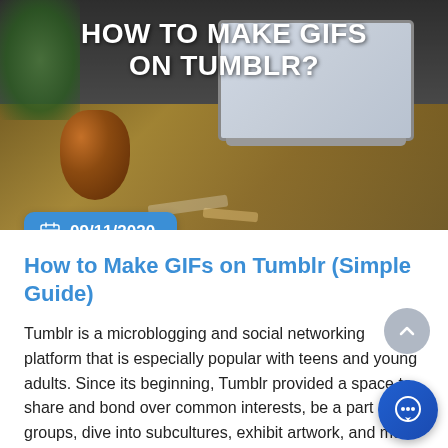[Figure (photo): Hero image of a laptop on a desk with a copper jug and plant, overlaid with the title 'HOW TO MAKE GIFS ON TUMBLR?' in bold white text. A blue date badge reads 09/11/2020.]
How to Make GIFs on Tumblr (Simple Guide)
Tumblr is a microblogging and social networking platform that is especially popular with teens and young adults. Since its beginning, Tumblr provided a space to share and bond over common interests, be a part of fan groups, dive into subcultures, exhibit artwork, and much more. The highly customizable structure of [...]